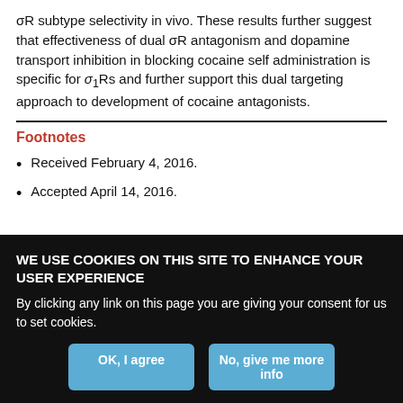σR subtype selectivity in vivo. These results further suggest that effectiveness of dual σR antagonism and dopamine transport inhibition in blocking cocaine self administration is specific for σ₁Rs and further support this dual targeting approach to development of cocaine antagonists.
Footnotes
Received February 4, 2016.
Accepted April 14, 2016.
WE USE COOKIES ON THIS SITE TO ENHANCE YOUR USER EXPERIENCE
By clicking any link on this page you are giving your consent for us to set cookies.